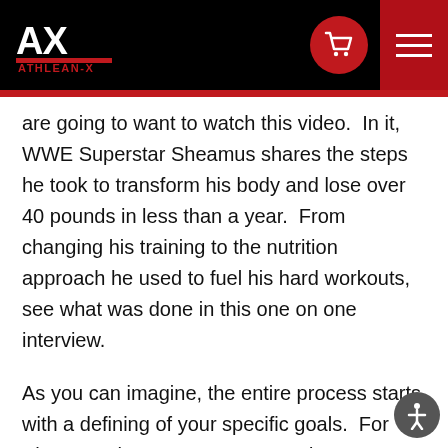ATHLEAN-X
are going to want to watch this video.  In it, WWE Superstar Sheamus shares the steps he took to transform his body and lose over 40 pounds in less than a year.  From changing his training to the nutrition approach he used to fuel his hard workouts, see what was done in this one on one interview.
As you can imagine, the entire process starts with a defining of your specific goals.  For Sheamus, he was at a crossroads.  He was torn between wanting to continue bulking up and taking on a look more similar to Brock Lesnar.  I advised against this.  Not only was this not